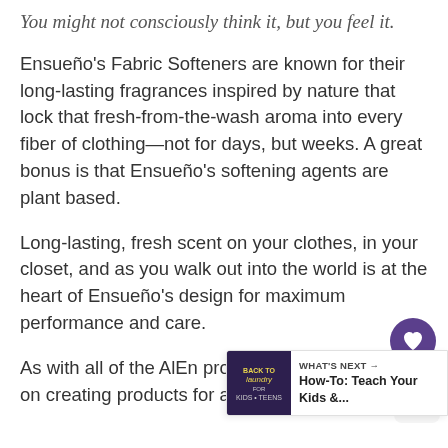You might not consciously think it, but you feel it.
Ensueño's Fabric Softeners are known for their long-lasting fragrances inspired by nature that lock that fresh-from-the-wash aroma into every fiber of clothing—not for days, but weeks. A great bonus is that Ensueño's softening agents are plant based.
Long-lasting, fresh scent on your clothes, in your closet, and as you walk out into the world is at the heart of Ensueño's design for maximum performance and care.
As with all of the AlEn products, they a… on creating products for a more sustainable